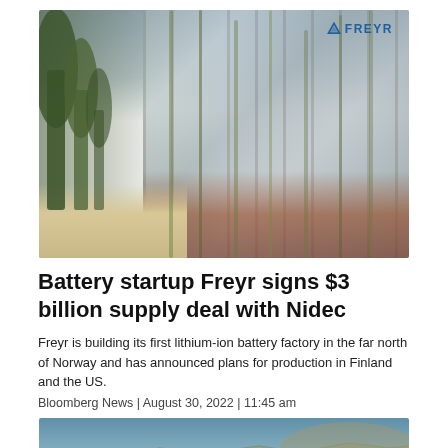[Figure (photo): Exterior view of a large industrial building with a reflective metallic facade, surrounded by pine trees. The FREYR logo is visible in the upper right corner of the building. The lower portion of the building shows a rust-colored base.]
Battery startup Freyr signs $3 billion supply deal with Nidec
Freyr is building its first lithium-ion battery factory in the far north of Norway and has announced plans for production in Finland and the US.
Bloomberg News | August 30, 2022 | 11:45 am
[Figure (photo): Aerial or landscape view of an industrial facility with smoke stacks emitting white smoke, set against a backdrop of green hills and mountains under a blue sky.]